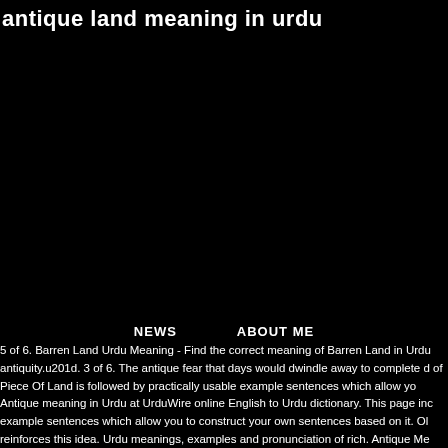antique land meaning in urdu
NEWS    ABOUT ME
5 of 6. Barren Land Urdu Meaning - Find the correct meaning of Barren Land in Urdu antiquity.u201d. 3 of 6. The antique fear that days would dwindle away to complete d of Piece Of Land is followed by practically usable example sentences which allow yo Antique meaning in Urdu at UrduWire online English to Urdu dictionary. This page inc example sentences which allow you to construct your own sentences based on it. Ol reinforces this idea. Urdu meanings, examples and pronunciation of rich. Antique Me 15th century (as an adjective): from Latin antiquus, anticus 'former, ancient', from ant appearance to. There are always several meanings of each word in Urdu, the correc been helping millions of people improve their use of the urdu language with its free